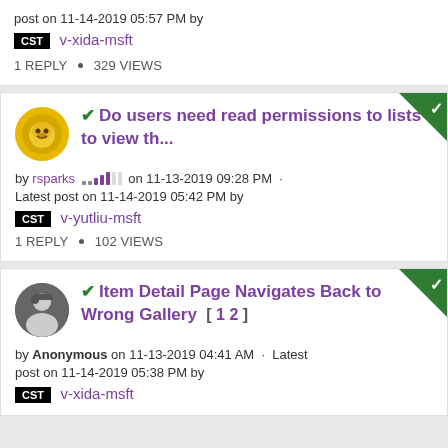post on 11-14-2019 05:57 PM by v-xida-msft
1 REPLY • 329 VIEWS
✔ Do users need read permissions to lists to view th...
by rsparks on 11-13-2019 09:28 PM • Latest post on 11-14-2019 05:42 PM by v-yutliu-msft
1 REPLY • 102 VIEWS
✔ Item Detail Page Navigates Back to Wrong Gallery [ 1 2 ]
by Anonymous on 11-13-2019 04:41 AM • Latest post on 11-14-2019 05:38 PM by v-xida-msft